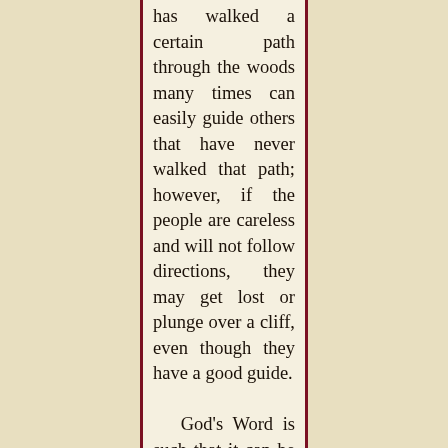has walked a certain path through the woods many times can easily guide others that have never walked that path; however, if the people are careless and will not follow directions, they may get lost or plunge over a cliff, even though they have a good guide.

    God's Word is such that it can be understood by